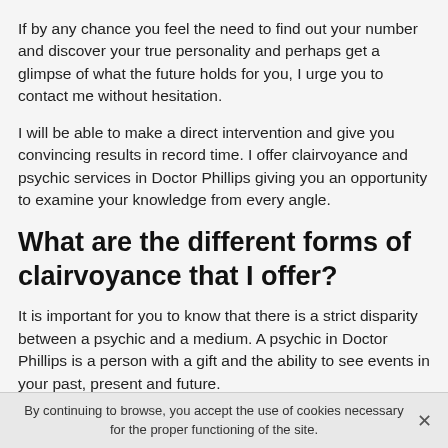If by any chance you feel the need to find out your number and discover your true personality and perhaps get a glimpse of what the future holds for you, I urge you to contact me without hesitation.
I will be able to make a direct intervention and give you convincing results in record time. I offer clairvoyance and psychic services in Doctor Phillips giving you an opportunity to examine your knowledge from every angle.
What are the different forms of clairvoyance that I offer?
It is important for you to know that there is a strict disparity between a psychic and a medium. A psychic in Doctor Phillips is a person with a gift and the ability to see events in your past, present and future.
By continuing to browse, you accept the use of cookies necessary for the proper functioning of the site.